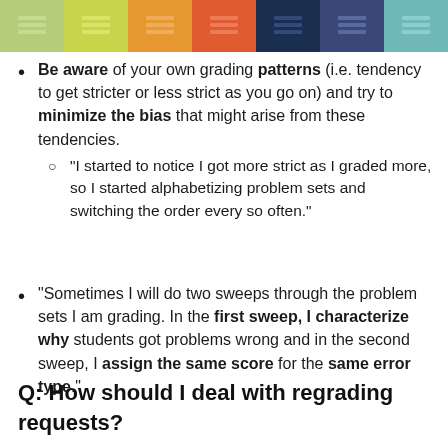[Figure (illustration): Row of seven colored decorative blocks with horizontal line icons: light green, yellow-green, orange, orange-red, dark navy, dark purple-blue, teal]
Be aware of your own grading patterns (i.e. tendency to get stricter or less strict as you go on) and try to minimize the bias that might arise from these tendencies. Sub-item: "I started to notice I got more strict as I graded more, so I started alphabetizing problem sets and switching the order every so often."
"Sometimes I will do two sweeps through the problem sets I am grading. In the first sweep, I characterize why students got problems wrong and in the second sweep, I assign the same score for the same error type."
Q: How should I deal with regrading requests?